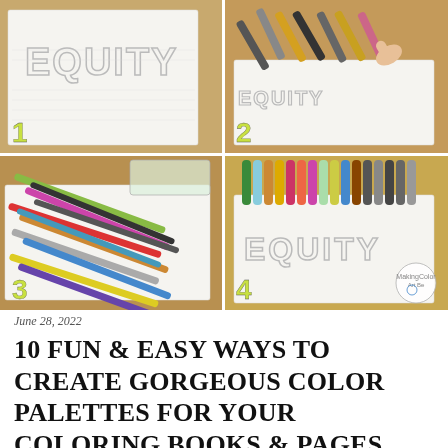[Figure (photo): Four-panel photo grid showing coloring book pages and markers. Top-left (1): coloring page with EQUITY text outline. Top-right (2): hand picking colored markers near coloring page. Bottom-left (3): scattered colorful markers spread over coloring page. Bottom-right (4): row of colorful markers lined up on coloring page with EQUITY text, with a circular logo in bottom-right corner.]
June 28, 2022
10 FUN & EASY WAYS TO CREATE GORGEOUS COLOR PALETTES FOR YOUR COLORING BOOKS & PAGES